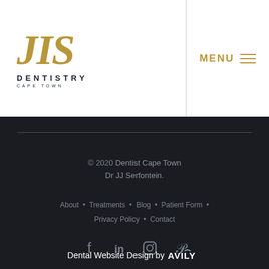[Figure (logo): JLS Dentistry Cape Town logo with golden italic JLS letters and dark text below]
MENU ≡
© 2020 Dentist Cape Town Dr JJ Serfontein.
About  •  Treatments  •  Blog  •  Patient Form  •  Privacy Policy  •  Contact
[Figure (infographic): Social media icons: Facebook, LinkedIn, Instagram, Pinterest]
Dental Website Design by AVILY